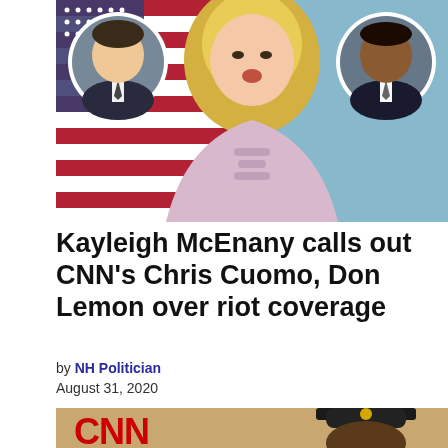[Figure (photo): Kayleigh McEnany speaking at a podium with a US flag background, flanked by two circular inset portraits of men in suits (Chris Cuomo on left, Don Lemon on right)]
Kayleigh McEnany calls out CNN's Chris Cuomo, Don Lemon over riot coverage
by NH Politician
August 31, 2020
[Figure (photo): CNN logo in red on left side, officer in police hat on right side against a tan/brown background]